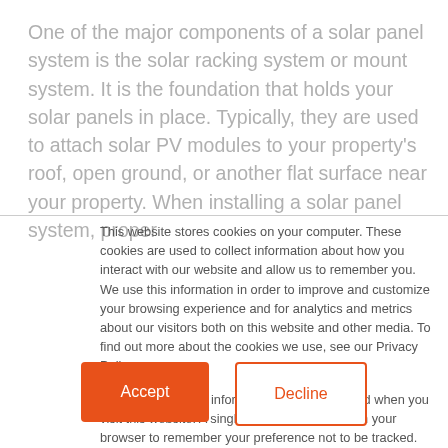One of the major components of a solar panel system is the solar racking system or mount system. It is the foundation that holds your solar panels in place. Typically, they are used to attach solar PV modules to your property's roof, open ground, or another flat surface near your property. When installing a solar panel system, proper
This website stores cookies on your computer. These cookies are used to collect information about how you interact with our website and allow us to remember you. We use this information in order to improve and customize your browsing experience and for analytics and metrics about our visitors both on this website and other media. To find out more about the cookies we use, see our Privacy Policy

If you decline, your information won't be tracked when you visit this website. A single cookie will be used in your browser to remember your preference not to be tracked.